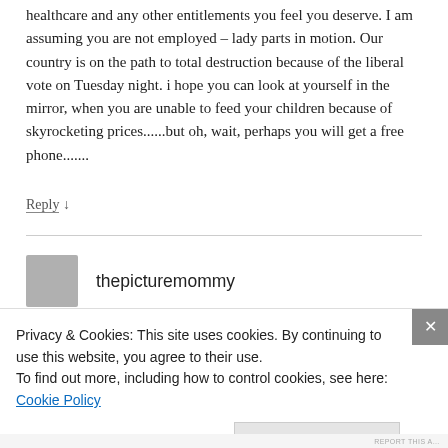healthcare and any other entitlements you feel you deserve. I am assuming you are not employed – lady parts in motion. Our country is on the path to total destruction because of the liberal vote on Tuesday night. i hope you can look at yourself in the mirror, when you are unable to feed your children because of skyrocketing prices......but oh, wait, perhaps you will get a free phone.......
Reply ↓
thepicturemommy
Privacy & Cookies: This site uses cookies. By continuing to use this website, you agree to their use.
To find out more, including how to control cookies, see here: Cookie Policy
Close and accept